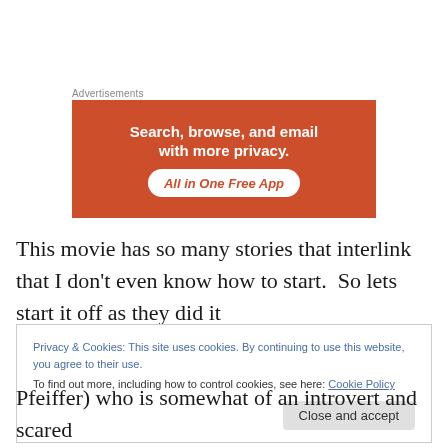Advertisements
[Figure (illustration): Orange advertisement banner with white bold text reading 'Search, browse, and email with more privacy.' and a brushstroke button reading 'All in One Free App']
This movie has so many stories that interlink that I don't even know how to start.  So lets start it off as they did it
Privacy & Cookies: This site uses cookies. By continuing to use this website, you agree to their use.
To find out more, including how to control cookies, see here: Cookie Policy

Close and accept
Pfeiffer) who is somewhat of an introvert and scared